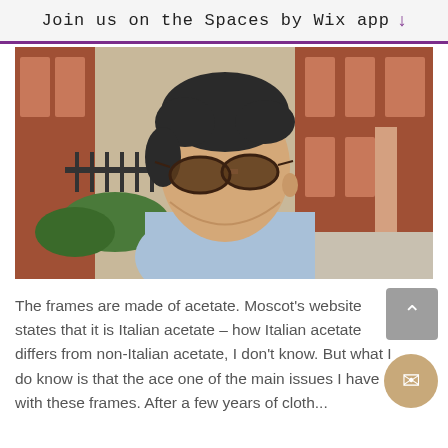Join us on the Spaces by Wix app ↓
[Figure (photo): Young man with dark hair wearing sunglasses and a light blue shirt, photographed outdoors in front of a red brick building with black iron fence, looking to the side.]
The frames are made of acetate. Moscot's website states that it is Italian acetate – how Italian acetate differs from non-Italian acetate, I don't know. But what I do know is that the ace... one of the main issues I have with these frames. After a few years of cloth...